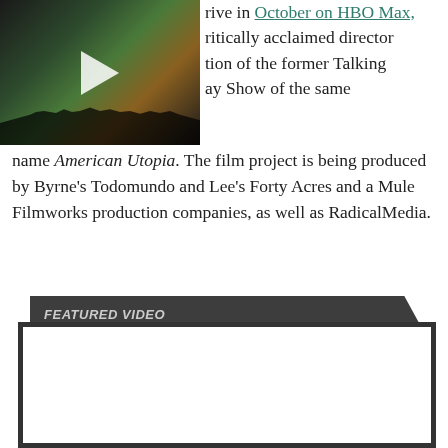[Figure (photo): Concert photo thumbnail with play button overlay, showing crowd silhouette and stage lighting in dark venue]
rive in October on HBO Max, ritically acclaimed director tion of the former Talking ay Show of the same name American Utopia. The film project is being produced by Byrne's Todomundo and Lee's Forty Acres and a Mule Filmworks production companies, as well as RadicalMedia.
FEATURED VIDEO
[Figure (screenshot): Empty white video player frame with dark border]